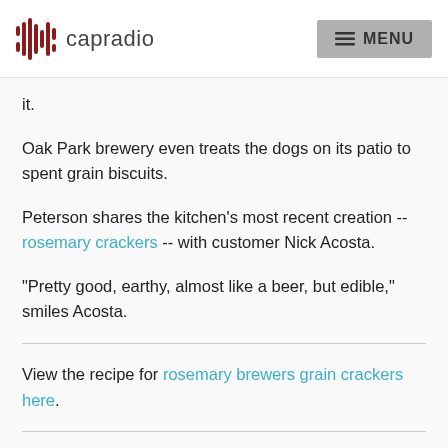capradio  MENU
it.
Oak Park brewery even treats the dogs on its patio to spent grain biscuits.
Peterson shares the kitchen's most recent creation -- rosemary crackers -- with customer Nick Acosta.
"Pretty good, earthy, almost like a beer, but edible," smiles Acosta.
View the recipe for rosemary brewers grain crackers here.
Follow us for more stories like this